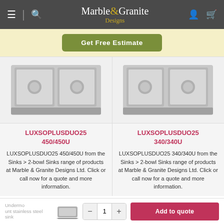Marble & Granite Designs
Get Free Estimate
[Figure (photo): Two stainless steel double-bowl undermount sinks side by side]
LUXSOPLUSDUO25 450/450U
LUXSOPLUSDUO25 450/450U from the Sinks > 2-bowl Sinks range of products at Marble & Granite Designs Ltd. Click or call now for a quote and more information.
LUXSOPLUSDUO25 340/340U
LUXSOPLUSDUO25 340/340U from the Sinks > 2-bowl Sinks range of products at Marble & Granite Designs Ltd. Click or call now for a quote and more information.
Undermount stainless steel sink | Add to quote